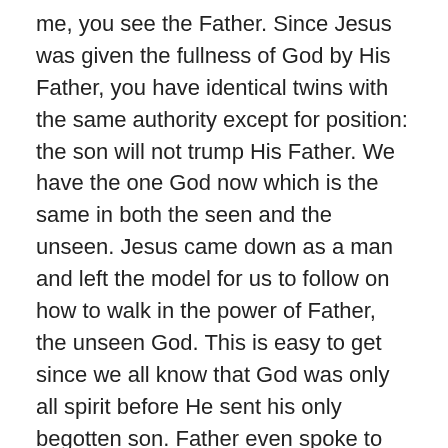me, you see the Father. Since Jesus was given the fullness of God by His Father, you have identical twins with the same authority except for position: the son will not trump His Father. We have the one God now which is the same in both the seen and the unseen. Jesus came down as a man and left the model for us to follow on how to walk in the power of Father, the unseen God. This is easy to get since we all know that God was only all spirit before He sent his only begotten son. Father even spoke to His son when John baptized Jesus. So here it is, you and I are here on earth. Jesus is in heaven interceding for us daily, and preparing for our reunion. You and I must consume more of our greatest nutrition, Father, and help make the Body of Christ what it is supposed to be. We have consumed the “Word” until we are fat, and we have moved in the “Spirit” mostly receiving great joy. It is time now to